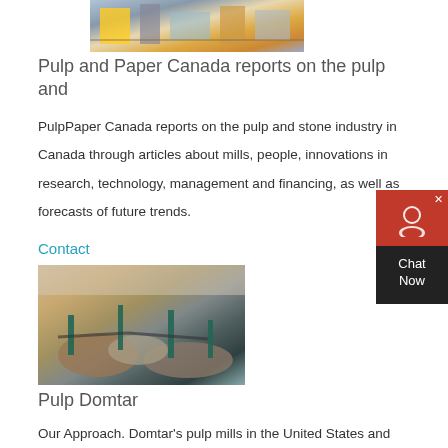[Figure (photo): Aerial view of an industrial facility with yellow equipment and colorful infrastructure]
Pulp and Paper Canada reports on the pulp and
PulpPaper Canada reports on the pulp and stone industry in Canada through articles about mills, people, innovations in research, technology, management and financing, as well as forecasts of future trends.
Contact
[Figure (photo): Aerial view of an industrial quarry or mining operation with green machinery and large piles of aggregate material]
Pulp Domtar
Our Approach. Domtar’s pulp mills in the United States and